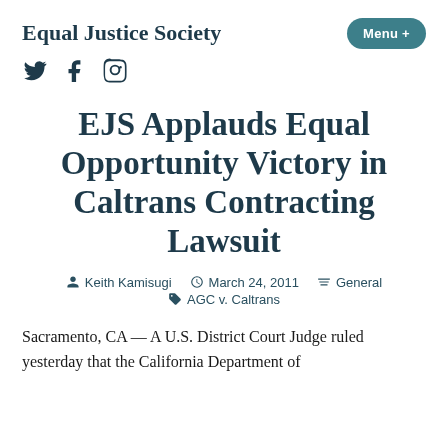Equal Justice Society
EJS Applauds Equal Opportunity Victory in Caltrans Contracting Lawsuit
Keith Kamisugi · March 24, 2011 · General · AGC v. Caltrans
Sacramento, CA — A U.S. District Court Judge ruled yesterday that the California Department of